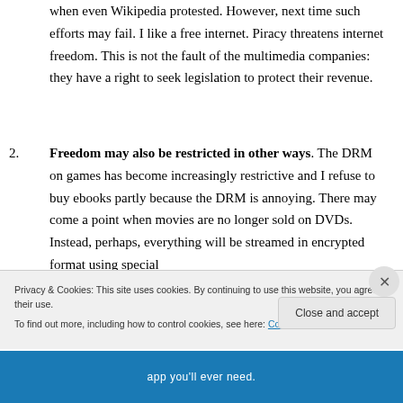when even Wikipedia protested. However, next time such efforts may fail. I like a free internet. Piracy threatens internet freedom. This is not the fault of the multimedia companies: they have a right to seek legislation to protect their revenue.
2. Freedom may also be restricted in other ways. The DRM on games has become increasingly restrictive and I refuse to buy ebooks partly because the DRM is annoying. There may come a point when movies are no longer sold on DVDs. Instead, perhaps, everything will be streamed in encrypted format using special
Privacy & Cookies: This site uses cookies. By continuing to use this website, you agree to their use. To find out more, including how to control cookies, see here: Cookie Policy
Close and accept
app you'll ever need.